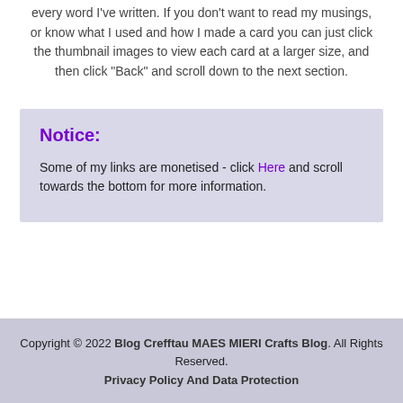every word I've written. If you don't want to read my musings, or know what I used and how I made a card you can just click the thumbnail images to view each card at a larger size, and then click “Back” and scroll down to the next section.
Notice:
Some of my links are monetised - click Here and scroll towards the bottom for more information.
Copyright © 2022 Blog Crefftau MAES MIERI Crafts Blog. All Rights Reserved. Privacy Policy And Data Protection